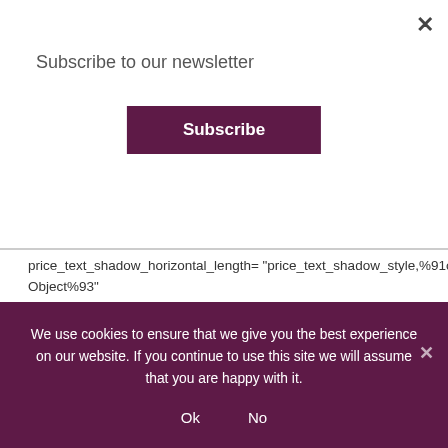Subscribe to our newsletter
Subscribe
price_text_shadow_horizontal_length="price_text_shadow_style,%91object Object%93"
price_text_shadow_vertical_length="price_text_shadow_style,%91object Object%93"
price_text_shadow_blur_strength="price_text_shadow_style,%91object Object%93"
button_text_shadow_horizontal_length="button_text_shadow_style,%91obj Object%93"
button_text_shadow_vertical_length="button_text_shadow_style,%91object Object%93"
We use cookies to ensure that we give you the best experience on our website. If you continue to use this site we will assume that you are happy with it.
Ok
No